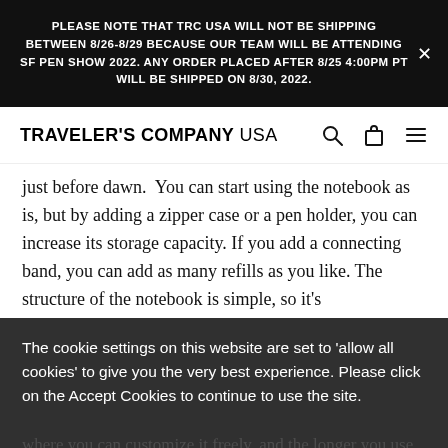PLEASE NOTE THAT TRC USA WILL NOT BE SHIPPING BETWEEN 8/26-8/29 BECAUSE OUR TEAM WILL BE ATTENDING SF PEN SHOW 2022. ANY ORDER PLACED AFTER 8/25 4:00PM PT WILL BE SHIPPED ON 8/30, 2022.
TRAVELER'S COMPANY USA
just before dawn. You can start using the notebook as is, but by adding a zipper case or a pen holder, you can increase its storage capacity. If you add a connecting band, you can add as many refills as you like. The structure of the notebook is simple, so it's
The cookie settings on this website are set to 'allow all cookies' to give you the very best experience. Please click on the Accept Cookies to continue to use the site.
where you can customize it freely, and the longer you use it, the more the taste and texture of the leather
PRIVACY POLICY   ACCEPT ✓